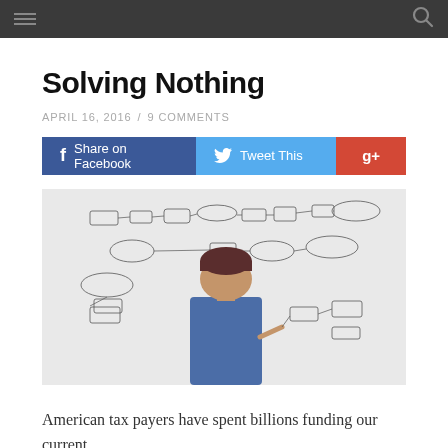Solving Nothing
APRIL 16, 2016  /  9 COMMENTS
[Figure (screenshot): Social sharing buttons: Share on Facebook (blue), Tweet This (light blue), G+ (red/orange)]
[Figure (photo): Person wearing a dark red beanie and blue t-shirt, viewed from behind, writing or drawing a complex flowchart/diagram on a white wall/whiteboard]
American tax payers have spent billions funding our current